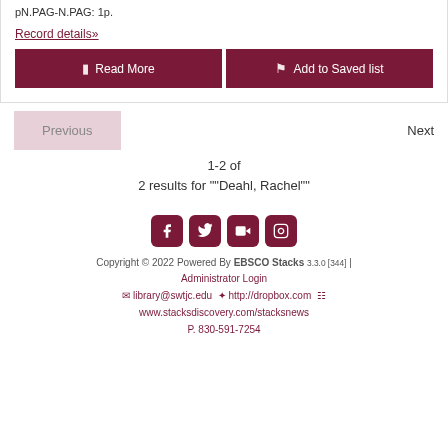pN.PAG-N.PAG: 1p.
Record details»
Read More
Add to Saved list
Previous
Next
1-2 of
2 results for ""Deahl, Rachel""
Copyright © 2022 Powered By EBSCO Stacks 3.3.0 [344] | Administrator Login
library@swtjc.edu  http://dropbox.com  www.stacksdiscovery.com/stacksnews
P. 830-591-7254